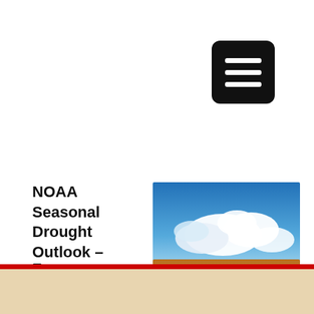[Figure (other): Black rounded rectangle menu/hamburger button icon with three white horizontal lines]
NOAA Seasonal Drought Outlook – September, October, November 8-20
[Figure (photo): Blue sky with white clouds photograph used as article thumbnail]
Farmers Impacted by Emergency Water Cuts Colorado River Basin States 8-19
[Figure (photo): Cracked dry earth/drought soil photograph used as article thumbnail]
Corn, Soybeans: WASDE Recap – Yield News Now, Demand News to
[Figure (photo): Grain elevator / storage silos with yellow grain pile photograph used as article thumbnail]